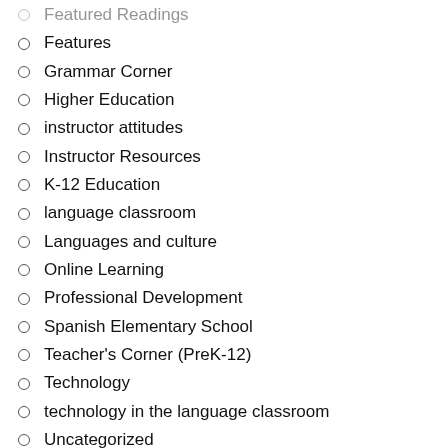Featured Readings
Features
Grammar Corner
Higher Education
instructor attitudes
Instructor Resources
K-12 Education
language classroom
Languages and culture
Online Learning
Professional Development
Spanish Elementary School
Teacher's Corner (PreK-12)
Technology
technology in the language classroom
Uncategorized